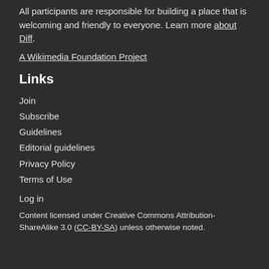All participants are responsible for building a place that is welcoming and friendly to everyone. Learn more about Diff.
A Wikimedia Foundation Project
Links
Join
Subscribe
Guidelines
Editorial guidelines
Privacy Policy
Terms of Use
Log in
Content licensed under Creative Commons Attribution-ShareAlike 3.0 (CC-BY-SA) unless otherwise noted.